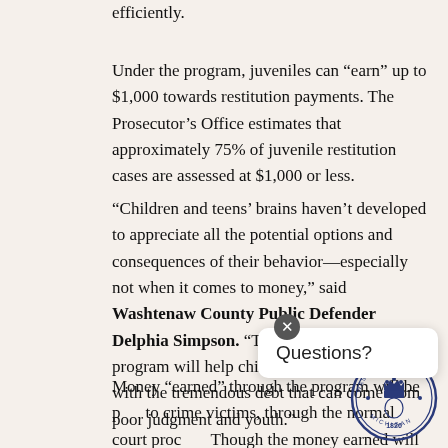efficiently.
Under the program, juveniles can “earn” up to $1,000 towards restitution payments. The Prosecutor’s Office estimates that approximately 75% of juvenile restitution cases are assessed at $1,000 or less.
“Children and teens’ brains haven’t developed to appreciate all the potential options and consequences of their behavior—especially not when it comes to money,” said Washtenaw County Public Defender Delphia Simpson. “The juvenile restitution program will help children and their families with the tremendous debt that can come from poor judgment and youth.”
Money “earned” through the program will be paid to crime victims, through the normal court process. Though the money earned will reduce the debt that court-involved juveniles owe, young people will not directly receive funds.
[Figure (logo): Washtenaw County Michigan official seal, circular blue stamp with crown and '1826']
Questions?